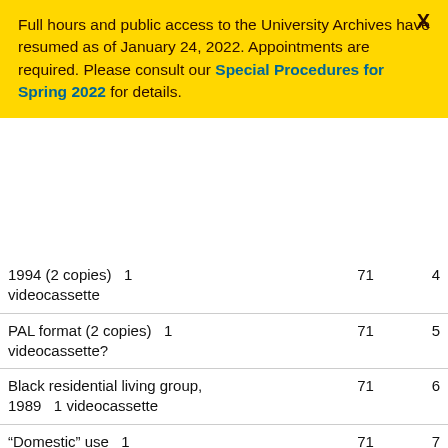Full hours and public access to the University Archives have resumed as of January 24, 2022. Appointments are required. Please consult our Special Procedures for Spring 2022 for details.
| Description | Box | Item |
| --- | --- | --- |
| 1994 (2 copies)   1 videocassette | 71 | 4 |
| PAL format (2 copies)   1 videocassette? | 71 | 5 |
| Black residential living group, 1989   1 videocassette | 71 | 6 |
| “Domestic” use   1 videocassette | 71 | 7 |
| With Pride and Confidence, 1940*   1 film reel (900 ft.) ; 16 mm. | OS 30 |  |
| Cigna Bicentennial, January | 61 | 22 |